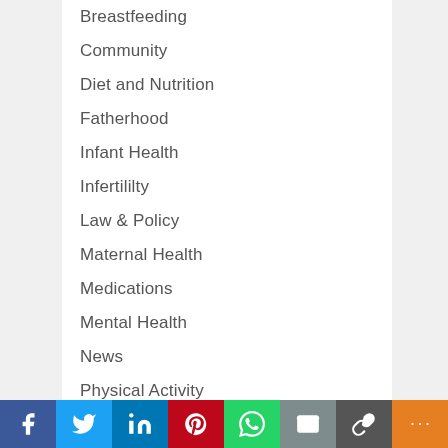Breastfeeding
Community
Diet and Nutrition
Fatherhood
Infant Health
Infertililty
Law & Policy
Maternal Health
Medications
Mental Health
News
Physical Activity
Pregnancy
Pregnancy Loss
Recipes
Technology